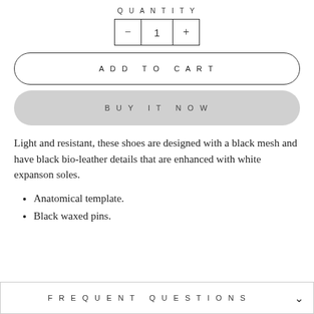QUANTITY
[Figure (other): Quantity selector with minus button, number 1, and plus button]
ADD TO CART
BUY IT NOW
Light and resistant, these shoes are designed with a black mesh and have black bio-leather details that are enhanced with white expanson soles.
Anatomical template.
Black waxed pins.
FREQUENT QUESTIONS